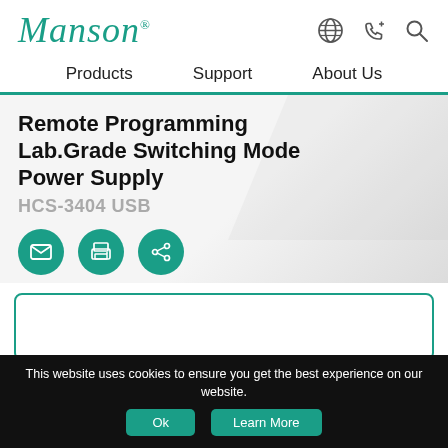[Figure (logo): Manson logo in teal italic script with registered trademark symbol]
Products   Support   About Us
Remote Programming Lab.Grade Switching Mode Power Supply
HCS-3404 USB
[Figure (infographic): Three teal circular action buttons: email, print, share]
[Figure (other): White card with teal border (product image area)]
This website uses cookies to ensure you get the best experience on our website.